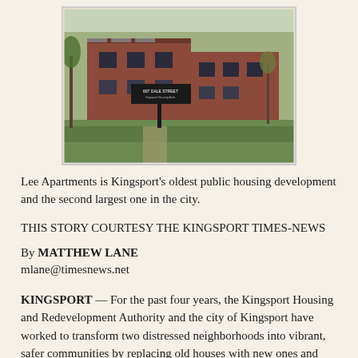[Figure (photo): Exterior photograph of Lee Apartments, a brick public housing development in Kingsport, with a sign reading '607 DALE STREET' in front of a green lawn and bare trees.]
Lee Apartments is Kingsport's oldest public housing development and the second largest one in the city.
THIS STORY COURTESY THE KINGSPORT TIMES-NEWS
By MATTHEW LANE
mlane@timesnews.net
KINGSPORT — For the past four years, the Kingsport Housing and Redevelopment Authority and the city of Kingsport have worked to transform two distressed neighborhoods into vibrant, safer communities by replacing old houses with new ones and renovating and expanding a local landmark into a state-of-theart